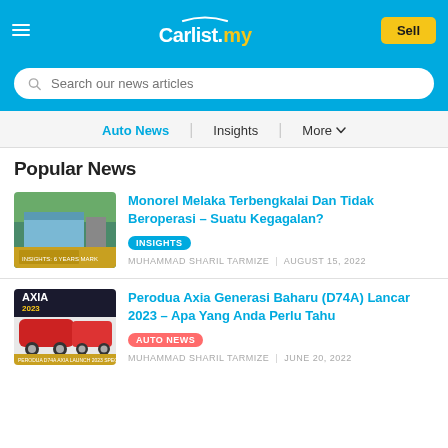Carlist.my
Search our news articles
Auto News | Insights | More
Popular News
[Figure (photo): Thumbnail image of Melaka Monorail station]
Monorel Melaka Terbengkalai Dan Tidak Beroperasi – Suatu Kegagalan?
INSIGHTS
MUHAMMAD SHARIL TARMIZE | AUGUST 15, 2022
[Figure (photo): Thumbnail image of Perodua Axia 2023 red car]
Perodua Axia Generasi Baharu (D74A) Lancar 2023 – Apa Yang Anda Perlu Tahu
AUTO NEWS
MUHAMMAD SHARIL TARMIZE | JUNE 20, 2022